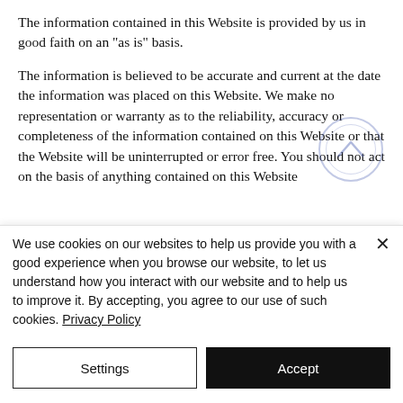The information contained in this Website is provided by us in good faith on an "as is" basis.
The information is believed to be accurate and current at the date the information was placed on this Website. We make no representation or warranty as to the reliability, accuracy or completeness of the information contained on this Website or that the Website will be uninterrupted or error free. You should not act on the basis of anything contained on this Website
We use cookies on our websites to help us provide you with a good experience when you browse our website, to let us understand how you interact with our website and to help us to improve it. By accepting, you agree to our use of such cookies. Privacy Policy